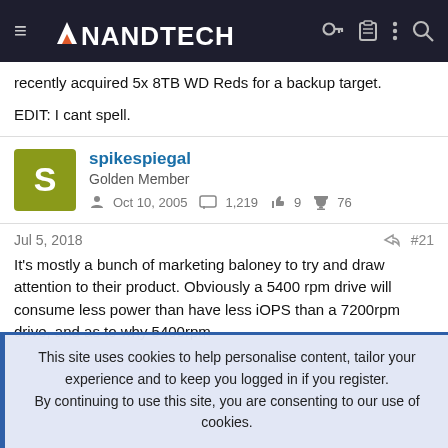AnandTech
recently acquired 5x 8TB WD Reds for a backup target.
EDIT: I cant spell.
spikespiegal
Golden Member
Oct 10, 2005  1,219  9  76
Jul 5, 2018  #21
It's mostly a bunch of marketing baloney to try and draw attention to their product. Obviously a 5400 rpm drive will consume less power than have less iOPS than a 7200rpm drive, and as to why 5400rpm
This site uses cookies to help personalise content, tailor your experience and to keep you logged in if you register.
By continuing to use this site, you are consenting to our use of cookies.